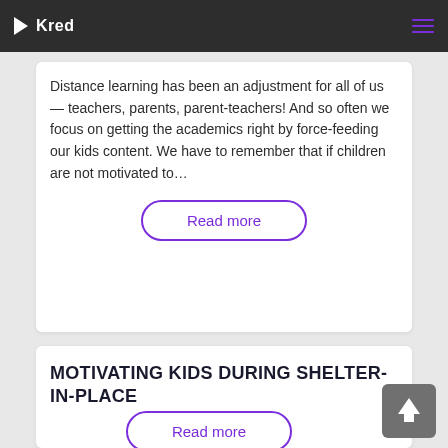Kred
Distance learning has been an adjustment for all of us — teachers, parents, parent-teachers! And so often we focus on getting the academics right by force-feeding our kids content. We have to remember that if children are not motivated to…
Read more
MOTIVATING KIDS DURING SHELTER-IN-PLACE
Read more